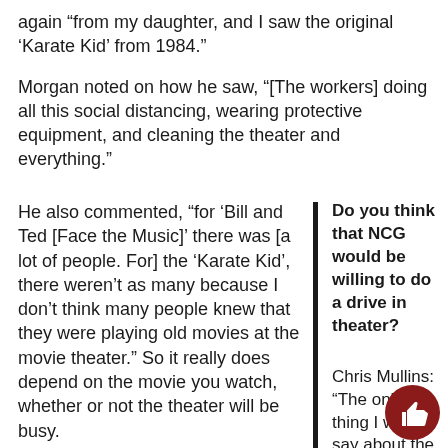again “from my daughter, and I saw the original ‘Karate Kid’ from 1984.”
Morgan noted on how he saw, “[The workers] doing all this social distancing, wearing protective equipment, and cleaning the theater and everything.”
He also commented, “for ‘Bill and Ted [Face the Music]’ there was [a lot of people. For] the ‘Karate Kid’, there weren’t as many because I don’t think many people knew that they were playing old movies at the movie theater.” So it really does depend on the movie you watch, whether or not the theater will be busy.
Do you think that NCG would be willing to do a drive in theater?
Chris Mullins: “The only thing I would say about the drive-in theaters are going to only allo so many people or